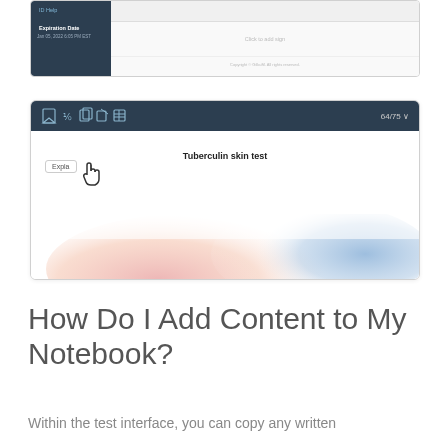[Figure (screenshot): Top portion of a test interface screenshot showing a dark sidebar with 'ID Help', 'Expiration Date' labels, and a main content area with 'Click to add sign' text and copyright notice.]
[Figure (screenshot): Screenshot of an online test interface showing a dark toolbar with icons and '64/75' page count, an 'Explain' button with a hand cursor hovering over it, a question titled 'Tuberculin skin test', and a partial image of a medical skin test procedure.]
How Do I Add Content to My Notebook?
Within the test interface, you can copy any written